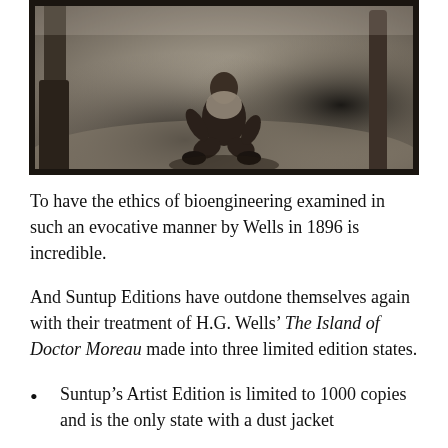[Figure (photo): Black and white illustration or photograph showing a figure crouched or kneeling near a tree, in a dark atmospheric scene.]
To have the ethics of bioengineering examined in such an evocative manner by Wells in 1896 is incredible.
And Suntup Editions have outdone themselves again with their treatment of H.G. Wells’ The Island of Doctor Moreau made into three limited edition states.
Suntup’s Artist Edition is limited to 1000 copies and is the only state with a dust jacket